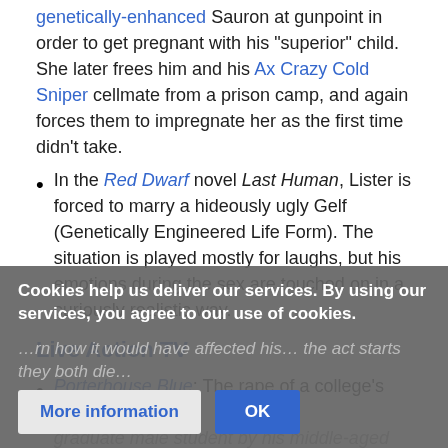genetically-enhanced Sauron at gunpoint in order to get pregnant with his "superior" child. She later frees him and his Ax Crazy Cold Sniper cellmate from a prison camp, and again forces them to impregnate her as the first time didn't take.
In the Red Dwarf novel Last Human, Lister is forced to marry a hideously ugly Gelf (Genetically Engineered Life Form). The situation is played mostly for laughs, but his emotions during the sex are touched on in a curiously realistic way.
Live Action TV
Porterhouse Blue: The rape of a college's only research graduate male student by his middle-aged bedder is ... learn how it would have affected his ... the act starts they both die...
Cookies help us deliver our services. By using our services, you agree to our use of cookies.